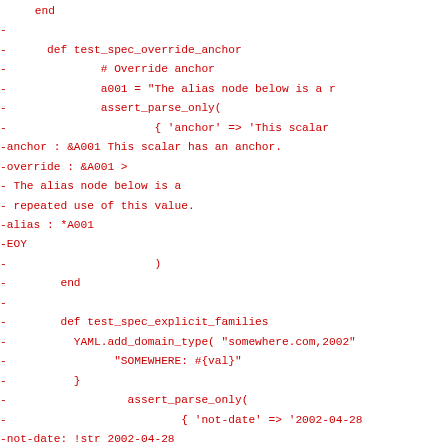Code listing showing Ruby test methods for YAML parsing with anchor overrides and explicit families